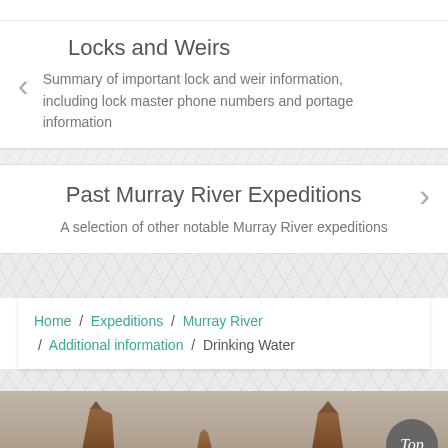Locks and Weirs
Summary of important lock and weir information, including lock master phone numbers and portage information
Past Murray River Expeditions
A selection of other notable Murray River expeditions
Home / Expeditions / Murray River / Additional information / Drinking Water
[Figure (illustration): Desert buttes / Monument Valley style landscape silhouette at the bottom of the page]
Top